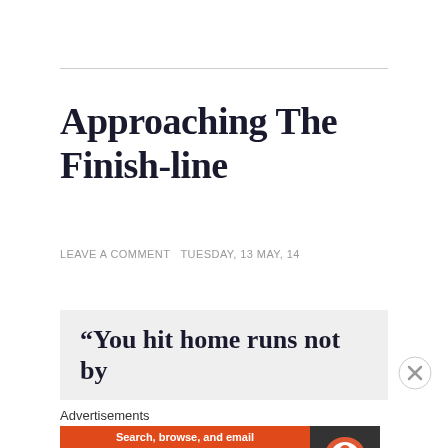Approaching The Finish-line
LEAVE A COMMENT TUESDAY, 13 MAY, 14
[Figure (other): Pull quote box with text: “You hit home runs not by]
Advertisements
[Figure (other): DuckDuckGo advertisement banner: Search, browse, and email with more privacy. All in One Free App.]